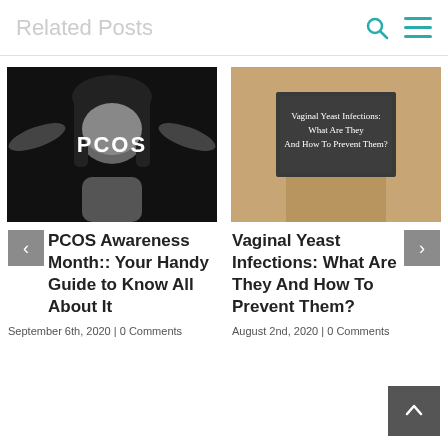Related Posts
[Figure (photo): Black and white photo of a woman with hands on head, with PCOS text overlay]
[Figure (photo): Photo of torso holding a chalkboard sign reading 'Vaginal Yeast Infections: What Are They And How To Prevent Them?']
PCOS Awareness Month:: Your Handy Guide to Know All About It
Vaginal Yeast Infections: What Are They And How To Prevent Them?
September 6th, 2020  |  0 Comments
August 2nd, 2020  |  0 Comments